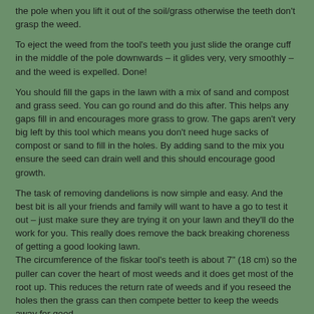the pole when you lift it out of the soil/grass otherwise the teeth don't grasp the weed.
To eject the weed from the tool's teeth you just slide the orange cuff in the middle of the pole downwards – it glides very, very smoothly – and the weed is expelled. Done!
You should fill the gaps in the lawn with a mix of sand and compost and grass seed. You can go round and do this after. This helps any gaps fill in and encourages more grass to grow. The gaps aren't very big left by this tool which means you don't need huge sacks of compost or sand to fill in the holes. By adding sand to the mix you ensure the seed can drain well and this should encourage good growth.
The task of removing dandelions is now simple and easy. And the best bit is all your friends and family will want to have a go to test it out – just make sure they are trying it on your lawn and they'll do the work for you. This really does remove the back breaking choreness of getting a good looking lawn.
The circumference of the fiskar tool's teeth is about 7" (18 cm) so the puller can cover the heart of most weeds and it does get most of the root up. This reduces the return rate of weeds and if you reseed the holes then the grass can then compete better to keep the weeds away for good.
Whilst regular mowing is considered a good way of removing most annual weeds (They can't compete with keep growing every time they're cut, unlike grass in your lawn which loves being cut to encourage it to grow more healthily) it won't touch